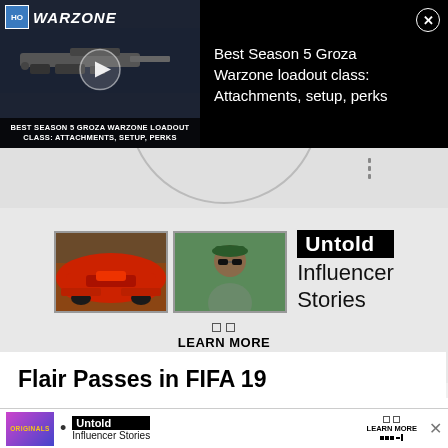[Figure (screenshot): Call of Duty Warzone video ad banner with play button thumbnail and text overlay showing 'BEST SEASON 5 GROZA WARZONE LOADOUT CLASS: ATTACHMENTS, SETUP, PERKS' on left, and text 'Best Season 5 Groza Warzone loadout class: Attachments, setup, perks' on right with close button]
[Figure (screenshot): Partial circular diagram visible at top, with a vertical bar indicator on the right side]
[Figure (advertisement): Untold Influencer Stories ad with two thumbnail images (red sports car, man with sunglasses), Untold badge, 'Influencer Stories' text, navigation dots and LEARN MORE button]
Flair Passes in FIFA 19
Subscribe to our newsletter for the latest updates
[Figure (advertisement): Bottom ad bar with Originals logo thumbnail, bullet point, Untold Influencer Stories badge, LEARN MORE with dots and bracket, and X close button]